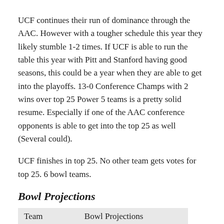UCF continues their run of dominance through the AAC. However with a tougher schedule this year they likely stumble 1-2 times. If UCF is able to run the table this year with Pitt and Stanford having good seasons, this could be a year when they are able to get into the playoffs. 13-0 Conference Champs with 2 wins over top 25 Power 5 teams is a pretty solid resume. Especially if one of the AAC conference opponents is able to get into the top 25 as well (Several could).
UCF finishes in top 25. No other team gets votes for top 25. 6 bowl teams.
Bowl Projections
| Team | Bowl Projections |
| --- | --- |
| UCF | Cotton Bowl (NY6) |
| Memphis | Birmingham Bowl |